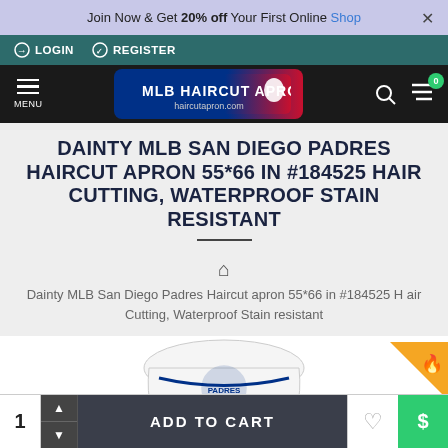Join Now & Get 20% off Your First Online Shop ×
LOGIN   REGISTER
MENU  MLB HAIRCUT APRON haircutapron.com  🔍  🛒 0
DAINTY MLB SAN DIEGO PADRES HAIRCUT APRON 55*66 IN #184525 HAIR CUTTING, WATERPROOF STAIN RESISTANT
Dainty MLB San Diego Padres Haircut apron 55*66 in #184525 Hair Cutting, Waterproof Stain resistant
[Figure (photo): Partial view of a San Diego Padres-themed haircut apron with team logo design]
1  ADD TO CART  ♡  $